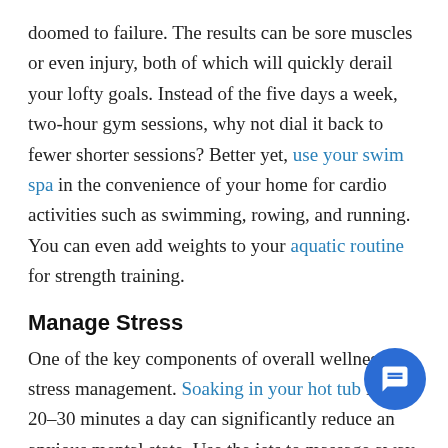doomed to failure. The results can be sore muscles or even injury, both of which will quickly derail your lofty goals. Instead of the five days a week, two-hour gym sessions, why not dial it back to fewer shorter sessions? Better yet, use your swim spa in the convenience of your home for cardio activities such as swimming, rowing, and running. You can even add weights to your aquatic routine for strength training.
Manage Stress
One of the key components of overall wellness is stress management. Soaking in your hot tub for 20–30 minutes a day can significantly reduce an anxious mental state. Use the jets to massage away muscle tension and even improve your mood. If you have a sauna, you can achieve similar results. The quiet private seclusion and the sauna's heat relaxes muscles, improves circulation, and can even reduce blood pressure. Try